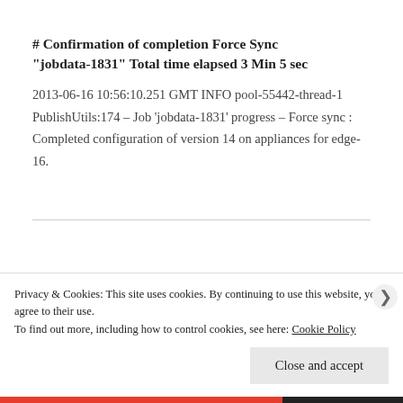# Confirmation of completion Force Sync "jobdata-1831" Total time elapsed 3 Min 5 sec
2013-06-16 10:56:10.251 GMT INFO pool-55442-thread-1 PublishUtils:174 – Job 'jobdata-1831' progress – Force sync : Completed configuration of version 14 on appliances for edge-16.
Privacy & Cookies: This site uses cookies. By continuing to use this website, you agree to their use. To find out more, including how to control cookies, see here: Cookie Policy